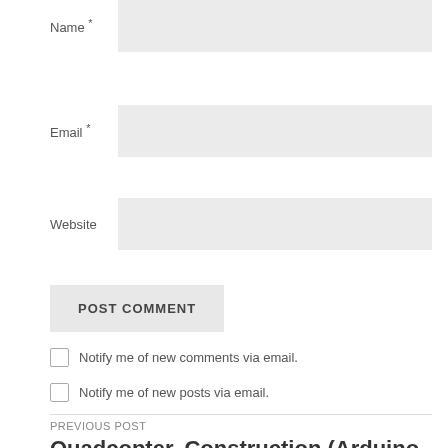Name *
Email *
Website
POST COMMENT
Notify me of new comments via email.
Notify me of new posts via email.
PREVIOUS POST
Quadcopter, Construction (Arduino